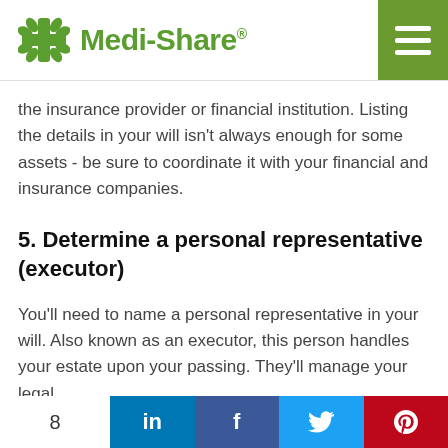Medi-Share®
the insurance provider or financial institution. Listing the details in your will isn't always enough for some assets - be sure to coordinate it with your financial and insurance companies.
5. Determine a personal representative (executor)
You'll need to name a personal representative in your will. Also known as an executor, this person handles your estate upon your passing. They'll manage your legal
8  in  f  🐦  p